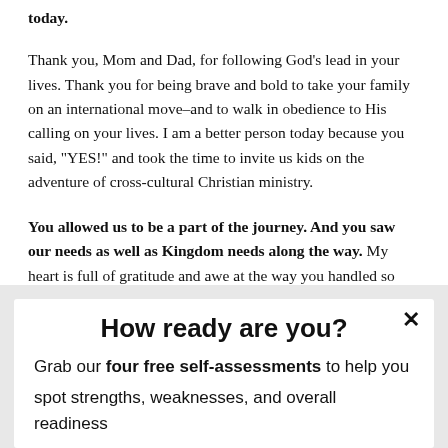today.
Thank you, Mom and Dad, for following God's lead in your lives. Thank you for being brave and bold to take your family on an international move–and to walk in obedience to His calling on your lives. I am a better person today because you said, "YES!" and took the time to invite us kids on the adventure of cross-cultural Christian ministry.
You allowed us to be a part of the journey. And you saw our needs as well as Kingdom needs along the way. My heart is full of gratitude and awe at the way you handled so many obstacles, challenges and moves, taking things in stride and trusting in the Lord.
How ready are you?
Grab our four free self-assessments to help you spot strengths, weaknesses, and overall readiness